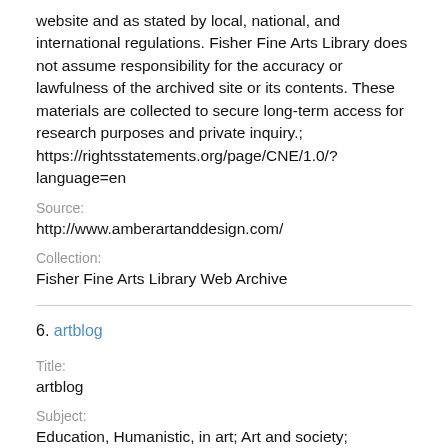website and as stated by local, national, and international regulations. Fisher Fine Arts Library does not assume responsibility for the accuracy or lawfulness of the archived site or its contents. These materials are collected to secure long-term access for research purposes and private inquiry.; https://rightsstatements.org/page/CNE/1.0/?language=en
Source:
http://www.amberartanddesign.com/
Collection:
Fisher Fine Arts Library Web Archive
6. artblog
Title:
artblog
Subject:
Education, Humanistic, in art; Art and society; Community arts projects; Art criticism; Electronic news gathering; Electronic publications
Description:
News website of Artblog. Titled: artblog. Title from home page.